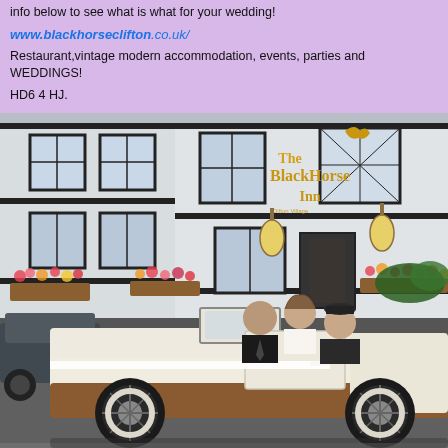info below to see what is what for your wedding!
www.blackhorseclifton.co.uk/
Restaurant,vintage modern accommodation, events, parties and WEDDINGS!
HD6  4 HJ.
[Figure (photo): Photo of a vintage cream convertible wedding car with a bride, groom and chauffeur parked in front of The BlackHorse Inn, Clifton Village pub building.]